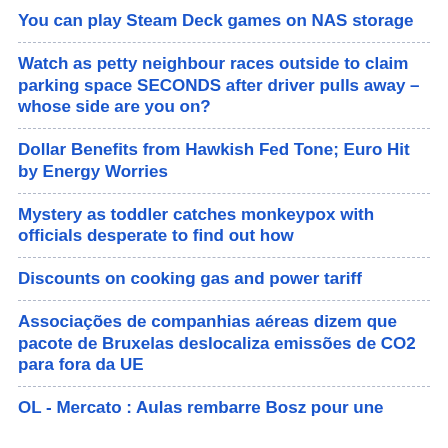You can play Steam Deck games on NAS storage
Watch as petty neighbour races outside to claim parking space SECONDS after driver pulls away – whose side are you on?
Dollar Benefits from Hawkish Fed Tone; Euro Hit by Energy Worries
Mystery as toddler catches monkeypox with officials desperate to find out how
Discounts on cooking gas and power tariff
Associações de companhias aéreas dizem que pacote de Bruxelas deslocaliza emissões de CO2 para fora da UE
OL - Mercato : Aulas rembarre Bosz pour une direction encore plus ambitieuse ?